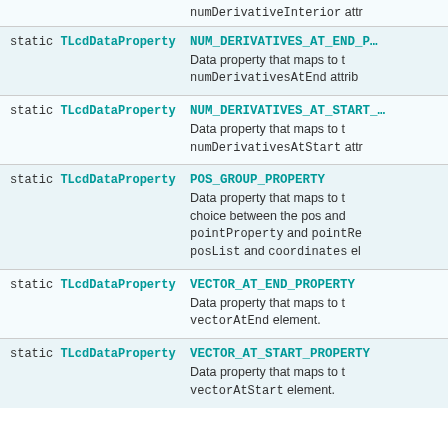| Type | Property / Description |
| --- | --- |
| static TLcdDataProperty | numDerivativeInterior attr... |
| static TLcdDataProperty | NUM_DERIVATIVES_AT_END_P...
Data property that maps to t numDerivativesAtEnd attrib |
| static TLcdDataProperty | NUM_DERIVATIVES_AT_START_...
Data property that maps to t numDerivativesAtStart attr |
| static TLcdDataProperty | POS_GROUP_PROPERTY
Data property that maps to t choice between the pos and pointProperty and pointRe posList and coordinates el |
| static TLcdDataProperty | VECTOR_AT_END_PROPERTY
Data property that maps to t vectorAtEnd element. |
| static TLcdDataProperty | VECTOR_AT_START_PROPERTY
Data property that maps to t vectorAtStart element. |